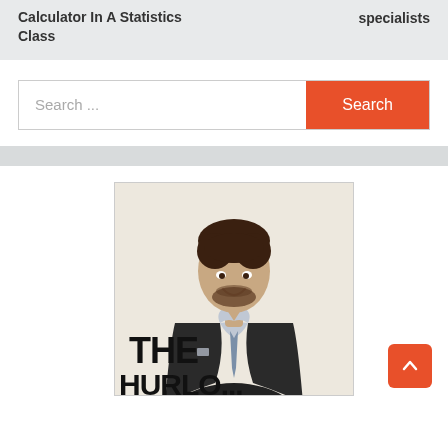Calculator In A Statistics Class ... specialists
[Figure (other): Search bar with placeholder text 'Search ...' and an orange 'Search' button]
[Figure (photo): A man in a dark suit and tie smiling, with bold text reading 'THE' and partial text below (likely a book cover)]
[Figure (other): Orange scroll-to-top button with upward arrow]